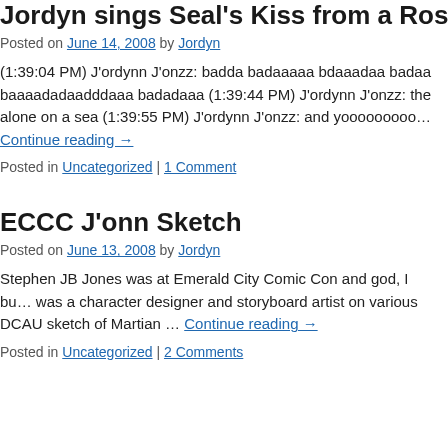Jordyn sings Seal's Kiss from a Rose in D…
Posted on June 14, 2008 by Jordyn
(1:39:04 PM) J'ordynn J'onzz: badda badaaaaa bdaaadaa badaa baaaadadaadddaaa badadaaa (1:39:44 PM) J'ordynn J'onzz: the alone on a sea (1:39:55 PM) J'ordynn J'onzz: and yooooooooo… Continue reading →
Posted in Uncategorized | 1 Comment
ECCC J'onn Sketch
Posted on June 13, 2008 by Jordyn
Stephen JB Jones was at Emerald City Comic Con and god, I bu… was a character designer and storyboard artist on various DCAU sketch of Martian … Continue reading →
Posted in Uncategorized | 2 Comments